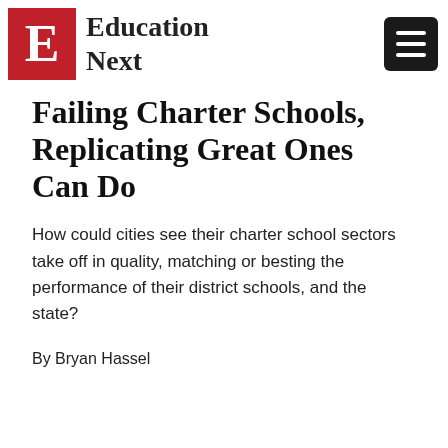Education Next
Failing Charter Schools, Replicating Great Ones Can Do
How could cities see their charter school sectors take off in quality, matching or besting the performance of their district schools, and the state?
By Bryan Hassel